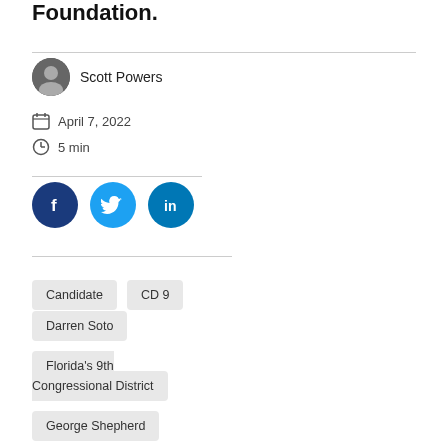Foundation.
Scott Powers
April 7, 2022
5 min
[Figure (infographic): Social share buttons: Facebook, Twitter, LinkedIn]
Candidate
CD 9
Darren Soto
Florida's 9th Congressional District
George Shepherd